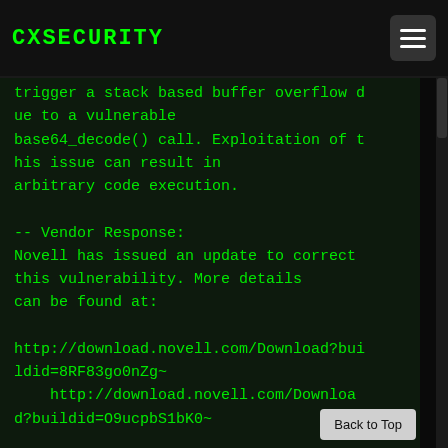CXSECURITY
trigger a stack based buffer overflow due to a vulnerable base64_decode() call. Exploitation of this issue can result in arbitrary code execution.

-- Vendor Response:
Novell has issued an update to correct this vulnerability. More details can be found at:

http://download.novell.com/Download?buildid=8RF83go0nZg~
    http://download.novell.com/Download?buildid=O9ucpbS1bK0~